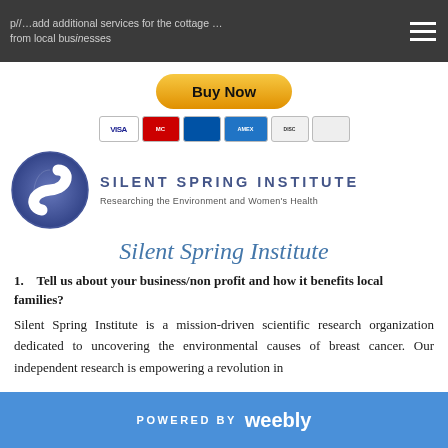p//... add additional services for the cottage ... from local businesses
[Figure (logo): PayPal Buy Now button with credit card icons (VISA, Mastercard, etc.)]
[Figure (logo): Silent Spring Institute logo - blue S-shape circle with organization name and tagline 'Researching the Environment and Women's Health']
Silent Spring Institute
1.    Tell us about your business/non profit and how it benefits local families?
Silent Spring Institute is a mission-driven scientific research organization dedicated to uncovering the environmental causes of breast cancer. Our independent research is empowering a revolution in
POWERED BY weebly